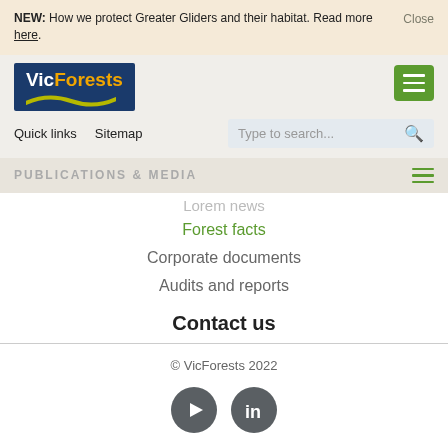NEW: How we protect Greater Gliders and their habitat. Read more here.
[Figure (logo): VicForests logo: blue rectangle with 'Vic' in white and 'Forests' in orange/gold text, with a green wave below]
Quick links  Sitemap
Type to search...
PUBLICATIONS & MEDIA
Latest news
Forest facts
Corporate documents
Audits and reports
Contact us
© VicForests 2022